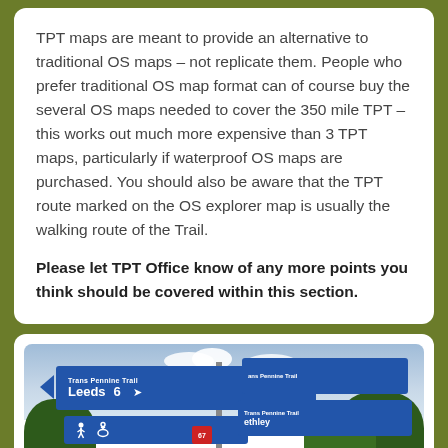TPT maps are meant to provide an alternative to traditional OS maps – not replicate them. People who prefer traditional OS map format can of course buy the several OS maps needed to cover the 350 mile TPT – this works out much more expensive than 3 TPT maps, particularly if waterproof OS maps are purchased. You should also be aware that the TPT route marked on the OS explorer map is usually the walking route of the Trail.
Please let TPT Office know of any more points you think should be covered within this section.
[Figure (photo): Photo of Trans Pennine Trail road signs on a signpost. The blue signs show 'Trans Pennine Trail Leeds 6' with an arrow pointing left, cycling and walking icons, and a red badge with the number 67. Other signs on the right indicate Trans Pennine Trail directions. Trees and cloudy sky are visible in the background. A 'Share This' overlay bar appears at the bottom.]